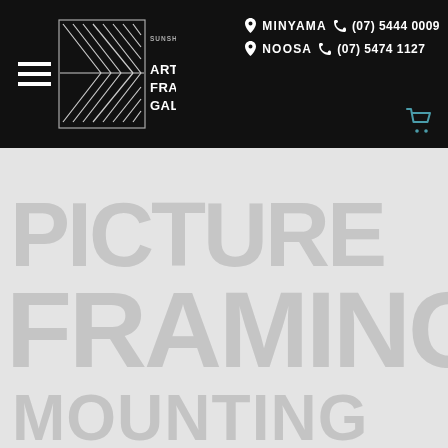Sunshine Coast Art and Framing Gallery | MINYAMA (07) 5444 0009 | NOOSA (07) 5474 1127
[Figure (logo): Sunshine Coast Art and Framing Gallery logo with geometric chevron/diamond pattern in a square frame, text 'SUNSHINE COAST ART AND FRAMING GALLERY']
PICTURE FRAMING MOUNTING